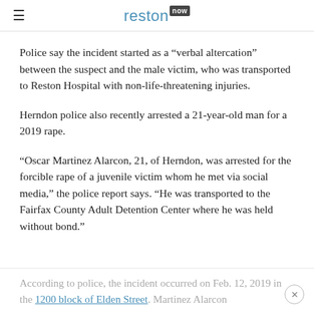reston now
Police say the incident started as a “verbal altercation” between the suspect and the male victim, who was transported to Reston Hospital with non-life-threatening injuries.
Herndon police also recently arrested a 21-year-old man for a 2019 rape.
“Oscar Martinez Alarcon, 21, of Herndon, was arrested for the forcible rape of a juvenile victim whom he met via social media,” the police report says. “He was transported to the Fairfax County Adult Detention Center where he was held without bond.”
According to police, the incident occurred on Feb. 12, 2019 in the 1200 block of Elden Street. Martinez Alarcon